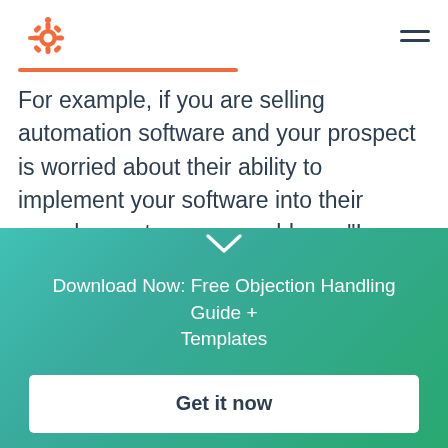HubSpot logo and navigation menu
For example, if you are selling automation software and your prospect is worried about their ability to implement your software into their complex system, you could say, "I understand, implementing new software can feel like a daunting task. Thankfully, we have an incredible tech team that has experience working with similar organizations and can handle…
Download Now: Free Objection Handling Guide + Templates
Get it now